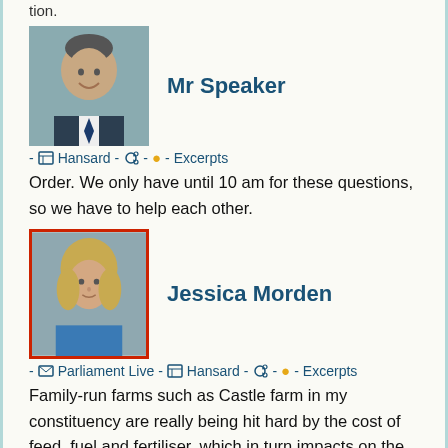tion.
[Figure (photo): Portrait photo of Mr Speaker, a man in a suit smiling, grey background]
Mr Speaker
- Hansard - - Excerpts
Order. We only have until 10 am for these questions, so we have to help each other.
[Figure (photo): Portrait photo of Jessica Morden, a woman with blonde hair, grey background, red border]
Jessica Morden
- Parliament Live - Hansard - - Excerpts
Family-run farms such as Castle farm in my constituency are really being hit hard by the cost of feed, fuel and fertiliser, which in turn impacts on the cost of things such as eggs, as reported by BBC Wales today, and just adds to the soaring food prices that are hitting families so hard. Why are the Government not doing more, especially when the supermarkets are now